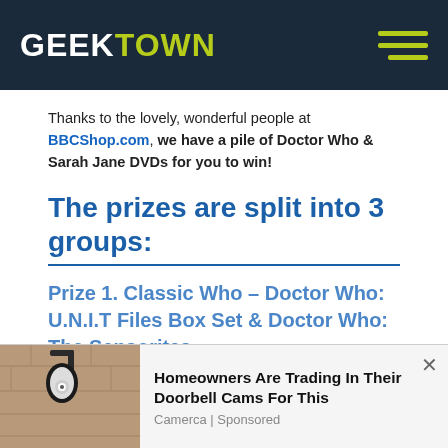GEEKTOWN
Thanks to the lovely, wonderful people at BBCShop.com, we have a pile of Doctor Who & Sarah Jane DVDs for you to win!
The prizes are split into 3 groups:
Prize 1. Classic Who – Doctor Who: U.N.I.T Files Box Set & Doctor Who: The Sensorites
[Figure (infographic): Advertisement banner showing a doorbell camera mounted on a wall, with text: Homeowners Are Trading In Their Doorbell Cams For This. Camerca | Sponsored]
Homeowners Are Trading In Their Doorbell Cams For This
Camerca | Sponsored